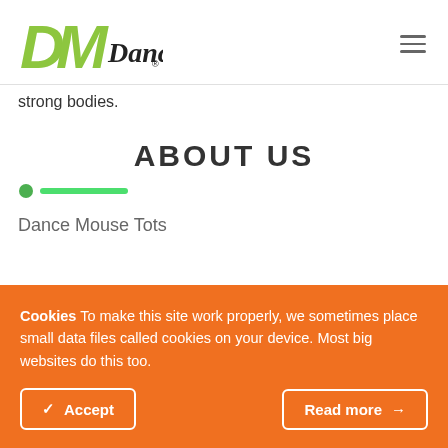[Figure (logo): DM Dance logo with green stylized letters DM and cursive Dance text in black]
strong bodies.
ABOUT US
[Figure (other): Green dot and green horizontal line decorative element]
Dance Mouse Tots
Cookies To make this site work properly, we sometimes place small data files called cookies on your device. Most big websites do this too.
Accept
Read more